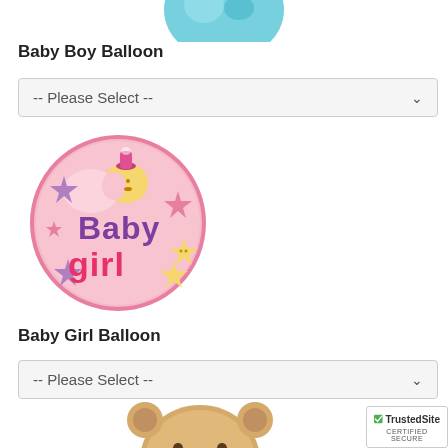[Figure (photo): Baby Boy Balloon - partially visible blue foil balloon at top of page]
Baby Boy Balloon
[Figure (other): Dropdown selector box with text '-- Please Select --' and a chevron arrow]
[Figure (photo): Baby Girl Balloon - round pink foil balloon with stars and moon design, text 'Baby girl' in purple and pink letters]
Baby Girl Balloon
[Figure (other): Dropdown selector box with text '-- Please Select --' and a chevron arrow]
[Figure (photo): Bottom of page showing top of a tan/beige teddy bear stuffed animal]
[Figure (logo): TrustedSite Certified Secure badge in bottom right corner]